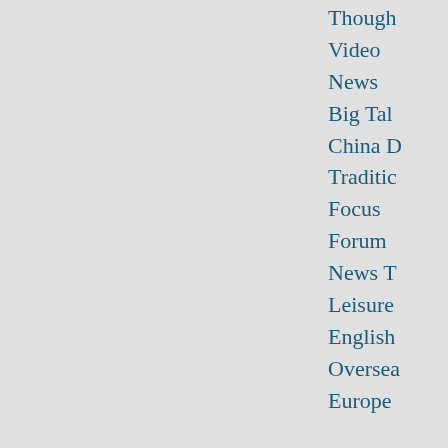Though
Video
News
Big Tal
China D
Traditic
Focus
Forum
News T
Leisure
English
Oversea
Europe
Business / Top News
Trade tensions may increase: economists
2012-01-30 07:44:43
We must pay close attention to growing trade tensions between China
Call to adjust interest rates
2012-01-30 07:26:01